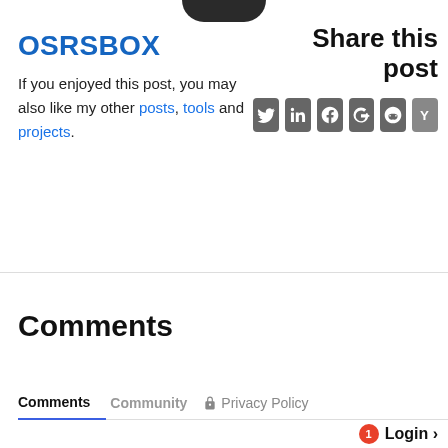[Figure (photo): Bottom half of a dark circular avatar/profile image cropped at top]
OSRSBOX
If you enjoyed this post, you may also like my other posts, tools and projects.
Share this post
[Figure (infographic): Row of social media share buttons: Twitter, LinkedIn, Facebook, Google+, Reddit, Hacker News]
Comments
Comments  Community  Privacy Policy
1  Login